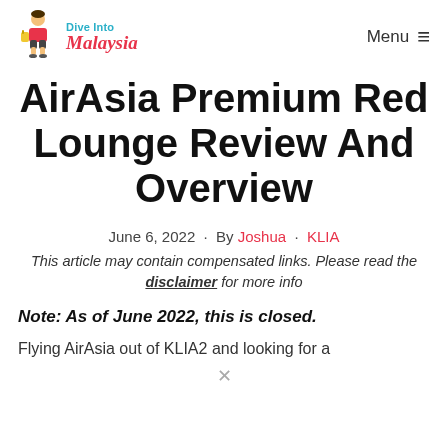Dive Into Malaysia  Menu
AirAsia Premium Red Lounge Review And Overview
June 6, 2022 · By Joshua · KLIA
This article may contain compensated links. Please read the disclaimer for more info
Note: As of June 2022, this is closed.
Flying AirAsia out of KLIA2 and looking for a